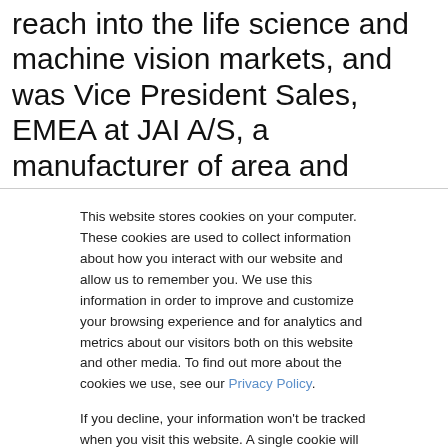reach into the life science and machine vision markets, and was Vice President Sales, EMEA at JAI A/S, a manufacturer of area and linescan cameras for machine vision applications such as food sorting and intelligent traffic systems (ITS). He holds a Diplom in Neurobiology and Computer Science from the University of Tübingen, and a Business Administration
This website stores cookies on your computer. These cookies are used to collect information about how you interact with our website and allow us to remember you. We use this information in order to improve and customize your browsing experience and for analytics and metrics about our visitors both on this website and other media. To find out more about the cookies we use, see our Privacy Policy.
If you decline, your information won't be tracked when you visit this website. A single cookie will be used in your browser to remember your preference not to be tracked.